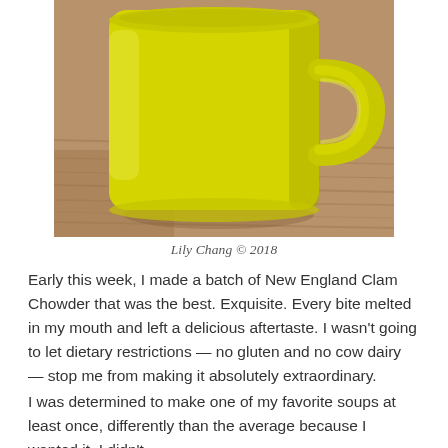[Figure (photo): A yellow ceramic coffee mug sitting on a wooden surface, photographed from the side. The mug is bright yellow with a handle visible on the right side.]
Lily Chang © 2018
Early this week, I made a batch of New England Clam Chowder that was the best. Exquisite. Every bite melted in my mouth and left a delicious aftertaste. I wasn't going to let dietary restrictions — no gluten and no cow dairy — stop me from making it absolutely extraordinary.
I was determined to make one of my favorite soups at least once, differently than the average because I wanted it. I didn't